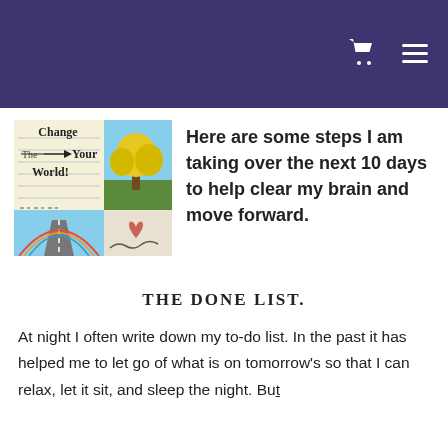[Figure (illustration): Book cover collage showing 'Change Your World!' text with arrow, yellow tree, long road, rainbow landscape, and a signature/heart sketch]
Here are some steps I am taking over the next 10 days to help clear my brain and move forward.
THE DONE LIST.
At night I often write down my to-do list. In the past it has helped me to let go of what is on tomorrow's so that I can relax, let it sit, and sleep the night. But